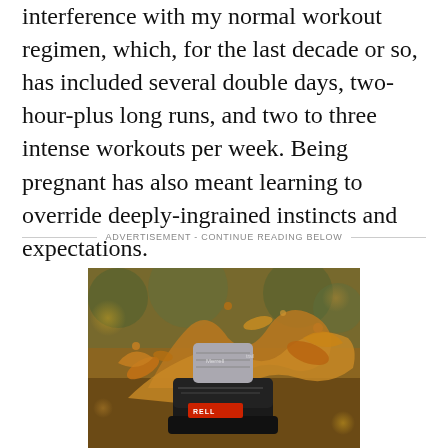interference with my normal workout regimen, which, for the last decade or so, has included several double days, two-hour-plus long runs, and two to three intense workouts per week. Being pregnant has also meant learning to override deeply-ingrained instincts and expectations.
ADVERTISEMENT - CONTINUE READING BELOW
[Figure (photo): Close-up action shot of a trail running shoe splashing through muddy water on a forest trail. The shoe appears to be a Merrell brand, partially submerged, with brown muddy water splashing dramatically around it. Bokeh background with trees visible.]